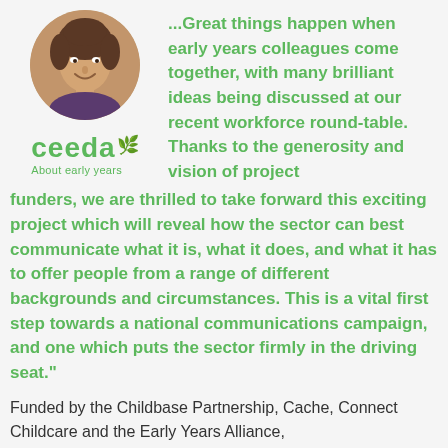[Figure (photo): Circular portrait photo of a smiling woman with dark hair]
[Figure (logo): Ceeda 'About early years' logo in green]
...Great things happen when early years colleagues come together, with many brilliant ideas being discussed at our recent workforce round-table. Thanks to the generosity and vision of project funders, we are thrilled to take forward this exciting project which will reveal how the sector can best communicate what it is, what it does, and what it has to offer people from a range of different backgrounds and circumstances. This is a vital first step towards a national communications campaign, and one which puts the sector firmly in the driving seat."
Funded by the Childbase Partnership, Cache, Connect Childcare and the Early Years Alliance,